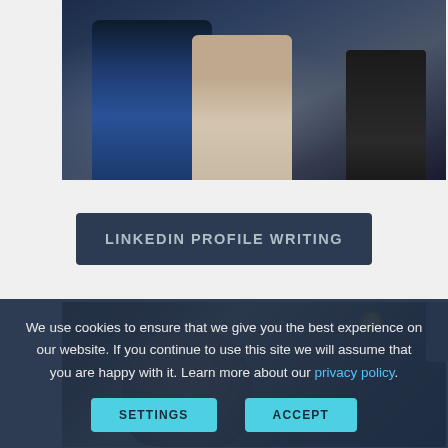[Figure (photo): Business people sitting in a row, holding clipboards and documents, wearing professional attire (suits and business dress), partially visible, cropped mid-body view]
LINKEDIN PROFILE WRITING
[Figure (photo): Man with glasses smiling, photographed in an interior space with visible ceiling lights, industrial-style setting, partial face visible at bottom of frame]
We use cookies to ensure that we give you the best experience on our website. If you continue to use this site we will assume that you are happy with it. Learn more about our privacy policy.
SETTINGS
ACCEPT